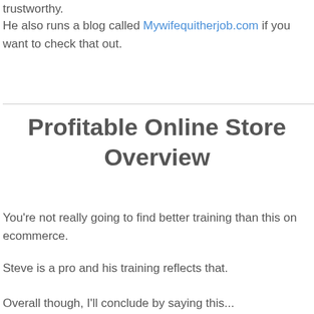trustworthy.
He also runs a blog called Mywifequitherjob.com if you want to check that out.
Profitable Online Store Overview
You're not really going to find better training than this on ecommerce.
Steve is a pro and his training reflects that.
Overall though, I'll conclude by saying this...